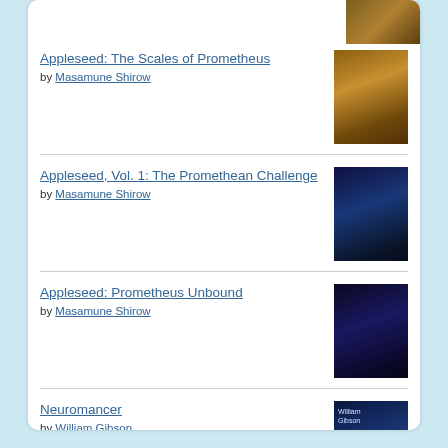[Figure (screenshot): Partial book cover visible at the top of the list (cropped)]
Appleseed: The Scales of Prometheus by Masamune Shirow
Appleseed, Vol. 1: The Promethean Challenge by Masamune Shirow
Appleseed: Prometheus Unbound by Masamune Shirow
Neuromancer by William Gibson
[Figure (logo): Goodreads logo button with rounded rectangle border]